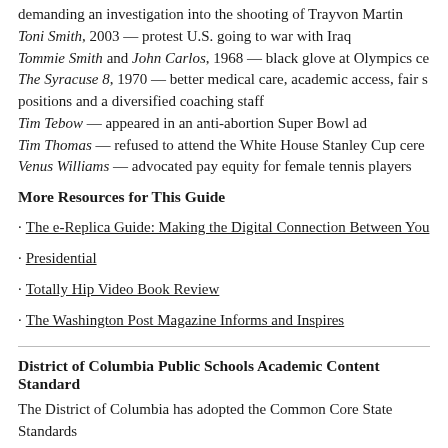demanding an investigation into the shooting of Trayvon Martin
Toni Smith, 2003 — protest U.S. going to war with Iraq
Tommie Smith and John Carlos, 1968 — black glove at Olympics ce...
The Syracuse 8, 1970 — better medical care, academic access, fair s... positions and a diversified coaching staff
Tim Tebow — appeared in an anti-abortion Super Bowl ad
Tim Thomas — refused to attend the White House Stanley Cup cere...
Venus Williams — advocated pay equity for female tennis players
More Resources for This Guide
The e-Replica Guide: Making the Digital Connection Between You...
Presidential
Totally Hip Video Book Review
The Washington Post Magazine Informs and Inspires
District of Columbia Public Schools Academic Content Standard...
The District of Columbia has adopted the Common Core State Standards... mathematics. In addition, DCPS has adopted new learning standards in a... education, science, social studies, technology and world languages.